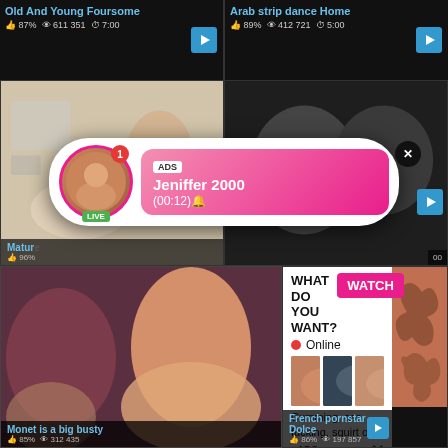Old And Young Foursome
👍 87%  👁 611 351  ⏱ 7:00
Arab strip dance Home
👍 89%  👁 412 721  ⏱ 5:00
[Figure (photo): Video thumbnail grid showing adult content thumbnails, an ad overlay popup for 'Jeniffer 2000', and a second ad popup 'WHAT DO YOU WANT? WATCH']
ADS
Jeniffer 2000
(00:12)🔔
LIVE
Mature
96%
Monet is a big busty
👍 85%  👁 312 435
French pornstar Dolce
👍 86%  👁 197 857
WHAT DO YOU WANT?
WATCH
🔴 Online
Cumming, ass fucking, squirt or...
• ADS